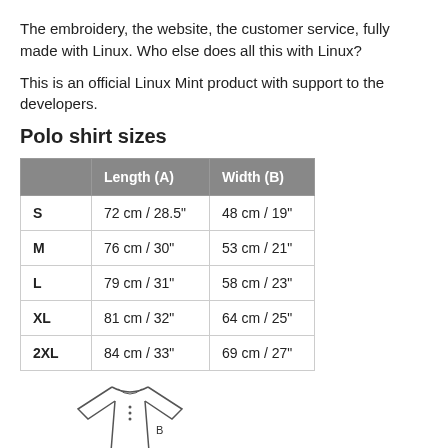The embroidery, the website, the customer service, fully made with Linux. Who else does all this with Linux?
This is an official Linux Mint product with support to the developers.
Polo shirt sizes
|  | Length (A) | Width (B) |
| --- | --- | --- |
| S | 72 cm / 28.5" | 48 cm / 19" |
| M | 76 cm / 30" | 53 cm / 21" |
| L | 79 cm / 31" | 58 cm / 23" |
| XL | 81 cm / 32" | 64 cm / 25" |
| 2XL | 84 cm / 33" | 69 cm / 27" |
[Figure (illustration): Line drawing of a polo shirt showing measurement points A (length) and B (width)]